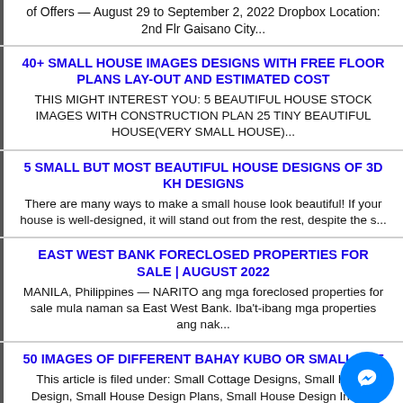of Offers — August 29 to September 2, 2022 Dropbox Location: 2nd Flr Gaisano City...
40+ SMALL HOUSE IMAGES DESIGNS WITH FREE FLOOR PLANS LAY-OUT AND ESTIMATED COST
THIS MIGHT INTEREST YOU: 5 BEAUTIFUL HOUSE STOCK IMAGES WITH CONSTRUCTION PLAN 25 TINY BEAUTIFUL HOUSE(VERY SMALL HOUSE)...
5 SMALL BUT MOST BEAUTIFUL HOUSE DESIGNS OF 3D KH DESIGNS
There are many ways to make a small house look beautiful! If your house is well-designed, it will stand out from the rest, despite the s...
EAST WEST BANK FORECLOSED PROPERTIES FOR SALE | AUGUST 2022
MANILA, Philippines — NARITO ang mga foreclosed properties for sale mula naman sa East West Bank. Iba't-ibang mga properties ang nak...
50 IMAGES OF DIFFERENT BAHAY KUBO OR SMALL HUT
This article is filed under: Small Cottage Designs, Small Home Design, Small House Design Plans, Small House Design Inside,